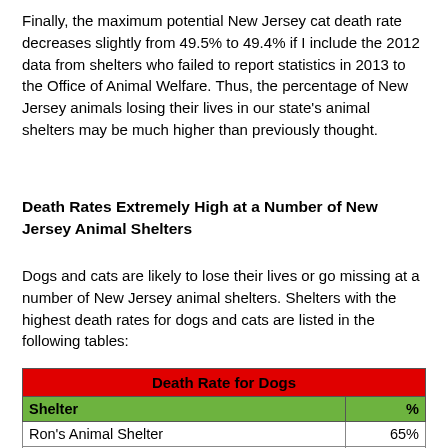Finally, the maximum potential New Jersey cat death rate decreases slightly from 49.5% to 49.4% if I include the 2012 data from shelters who failed to report statistics in 2013 to the Office of Animal Welfare. Thus, the percentage of New Jersey animals losing their lives in our state's animal shelters may be much higher than previously thought.
Death Rates Extremely High at a Number of New Jersey Animal Shelters
Dogs and cats are likely to lose their lives or go missing at a number of New Jersey animal shelters. Shelters with the highest death rates for dogs and cats are listed in the following tables:
| Death Rate for Dogs | % |
| --- | --- |
| Ron's Animal Shelter | 65% |
| Passaic Animal Shelter | 42% |
| Elizabeth Animal Shelter | 42% |
| Paterson Animal Control | 39% |